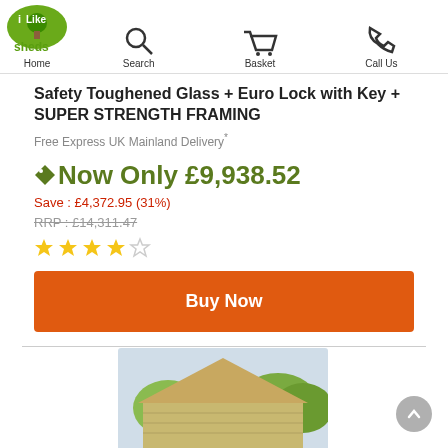iLike sheds — Home | Search | Basket | Call Us
Safety Toughened Glass + Euro Lock with Key + SUPER STRENGTH FRAMING
Free Express UK Mainland Delivery*
Now Only £9,938.52
Save : £4,372.95 (31%)
RRP : £14,311.47
[Figure (other): 4 out of 5 star rating]
Buy Now
[Figure (photo): Partial view of a log cabin / shed building exterior with wooden walls and roof, green trees in background]